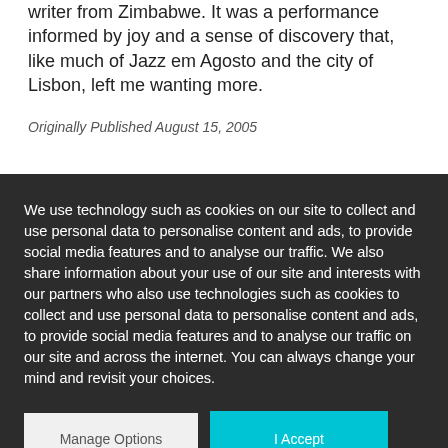writer from Zimbabwe. It was a performance informed by joy and a sense of discovery that, like much of Jazz em Agosto and the city of Lisbon, left me wanting more.
Originally Published August 15, 2005
We use technology such as cookies on our site to collect and use personal data to personalise content and ads, to provide social media features and to analyse our traffic. We also share information about your use of our site and interests with our partners who also use technologies such as cookies to collect and use personal data to personalise content and ads, to provide social media features and to analyse our traffic on our site and across the internet. You can always change your mind and revisit your choices.
Manage Options
I Accept